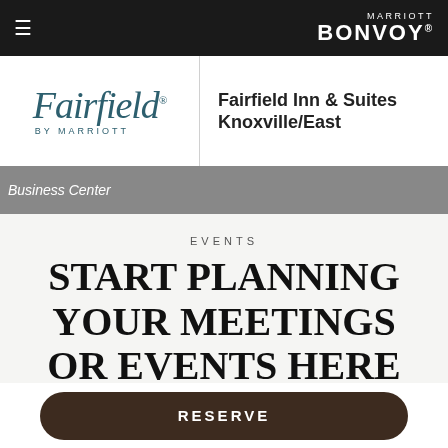≡  MARRIOTT BONVOY®
[Figure (logo): Fairfield by Marriott logo with teal/blue italic text]
Fairfield Inn & Suites Knoxville/East
[Figure (photo): Business Center image banner]
EVENTS
START PLANNING YOUR MEETINGS OR EVENTS HERE
RESERVE